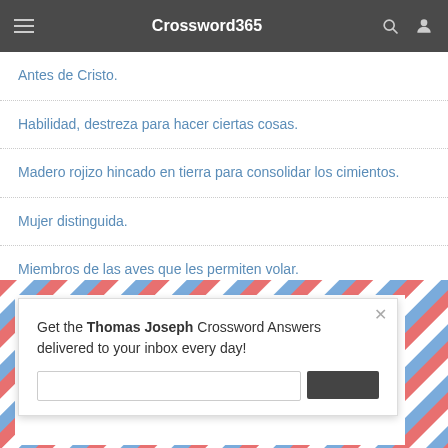Crossword365
Antes de Cristo.
Habilidad, destreza para hacer ciertas cosas.
Madero rojizo hincado en tierra para consolidar los cimientos.
Mujer distinguida.
Miembros de las aves que les permiten volar.
Get the Thomas Joseph Crossword Answers delivered to your inbox every day!